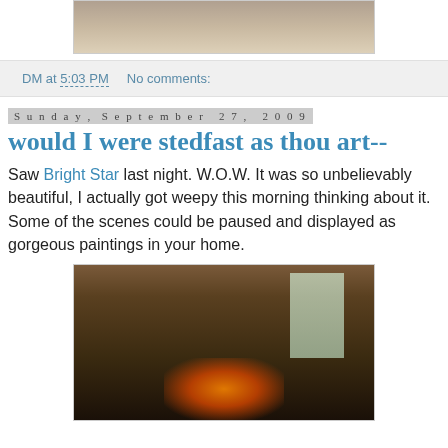[Figure (photo): Partial view of a photo, likely showing a person or animal, cropped at top of page]
DM at 5:03 PM   No comments:
Sunday, September 27, 2009
would I were stedfast as thou art--
Saw Bright Star last night. W.O.W. It was so unbelievably beautiful, I actually got weepy this morning thinking about it. Some of the scenes could be paused and displayed as gorgeous paintings in your home.
[Figure (photo): Indoor scene from the film Bright Star showing several people sitting around a fireplace in a period room with a window letting in natural light]